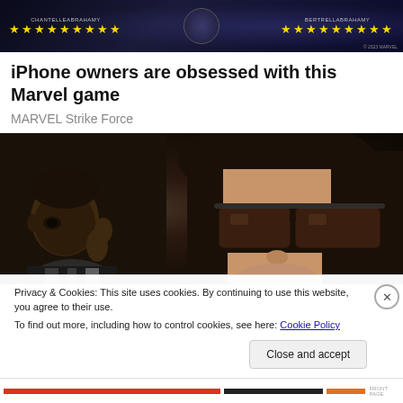[Figure (photo): Marvel Strike Force advertisement banner with two character names, star ratings (9 gold stars each side), and dark space-themed background]
iPhone owners are obsessed with this Marvel game
MARVEL Strike Force
[Figure (photo): Close-up photo of a woman with dark hair and large dark sunglasses, with a child partially visible on the left side]
Privacy & Cookies: This site uses cookies. By continuing to use this website, you agree to their use.
To find out more, including how to control cookies, see here: Cookie Policy
Close and accept